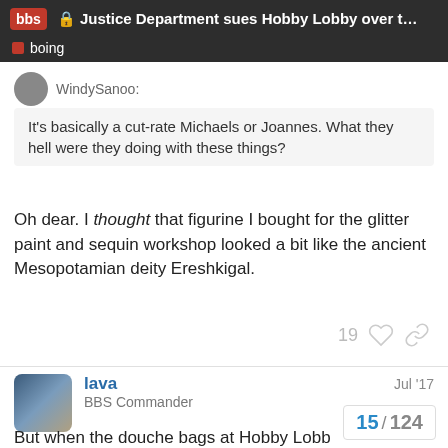Justice Department sues Hobby Lobby over t... | boing
WindySanoo:
It's basically a cut-rate Michaels or Joannes. What they hell were they doing with these things?
Oh dear. I thought that figurine I bought for the glitter paint and sequin workshop looked a bit like the ancient Mesopotamian deity Ereshkigal.
19
lava
Jul '17
BBS Commander
Wait, so when douche bags at a bank do lousy things, illegal things, they don't go to jail because it was the bank and supposedly not the officers.
But when the douche bags at Hobby Lobb
15 / 124